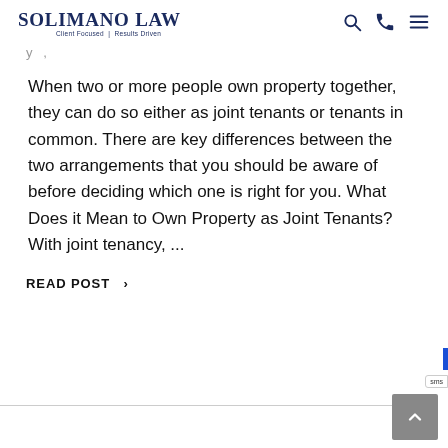SOLIMANO LAW — Client Focused | Results Driven
y ,
When two or more people own property together, they can do so either as joint tenants or tenants in common. There are key differences between the two arrangements that you should be aware of before deciding which one is right for you. What Does it Mean to Own Property as Joint Tenants? With joint tenancy, ...
READ POST  >